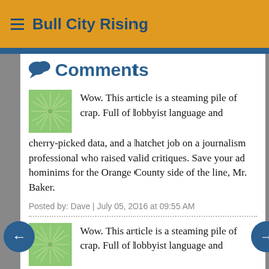Bull City Rising
Comments
Wow. This article is a steaming pile of crap. Full of lobbyist language and cherry-picked data, and a hatchet job on a journalism professional who raised valid critiques. Save your ad hominims for the Orange County side of the line, Mr. Baker.
Posted by: Dave | July 05, 2016 at 09:55 AM
Wow. This article is a steaming pile of crap. Full of lobbyist language and